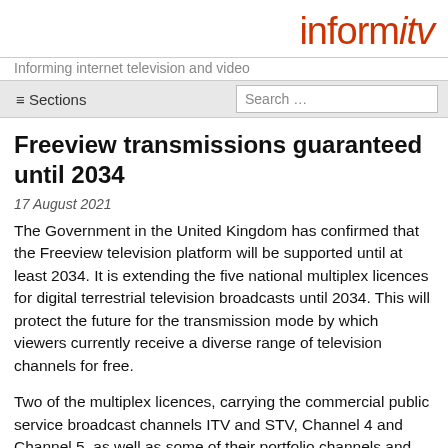informitv
Informing internet television and video
Freeview transmissions guaranteed until 2034
17 August 2021
The Government in the United Kingdom has confirmed that the Freeview television platform will be supported until at least 2034. It is extending the five national multiplex licences for digital terrestrial television broadcasts until 2034. This will protect the future for the transmission mode by which viewers currently receive a diverse range of television channels for free.
Two of the multiplex licences, carrying the commercial public service broadcast channels ITV and STV, Channel 4 and Channel 5, as well as some of their portfolio channels and other